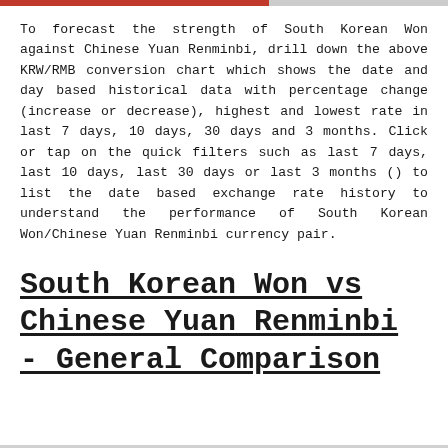To forecast the strength of South Korean Won against Chinese Yuan Renminbi, drill down the above KRW/RMB conversion chart which shows the date and day based historical data with percentage change (increase or decrease), highest and lowest rate in last 7 days, 10 days, 30 days and 3 months. Click or tap on the quick filters such as last 7 days, last 10 days, last 30 days or last 3 months () to list the date based exchange rate history to understand the performance of South Korean Won/Chinese Yuan Renminbi currency pair.
South Korean Won vs Chinese Yuan Renminbi - General Comparison